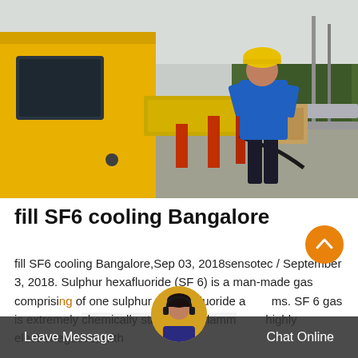[Figure (photo): A worker in a blue jacket and yellow hard hat standing on a yellow industrial vehicle/rail maintenance machine on railway tracks, with trees and infrastructure visible in the background.]
fill SF6 cooling Bangalore
fill SF6 cooling Bangalore,Sep 03, 2018sensotec / September 3, 2018. Sulphur hexafluoride (SF 6) is a man-made gas comprising of one sulphur and six fluoride atoms. SF 6 gas is extremely chemically stable, non-flammable, highly electronegative, with an excellent dielectric property of approximately 2.5 times more
Leave Message   Chat Online